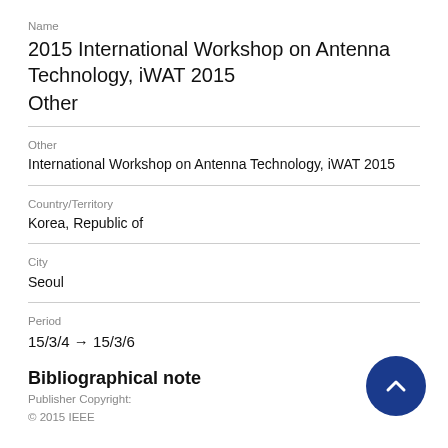Name
2015 International Workshop on Antenna Technology, iWAT 2015
Other
Other
International Workshop on Antenna Technology, iWAT 2015
Country/Territory
Korea, Republic of
City
Seoul
Period
15/3/4 → 15/3/6
Bibliographical note
Publisher Copyright:
© 2015 IEEE